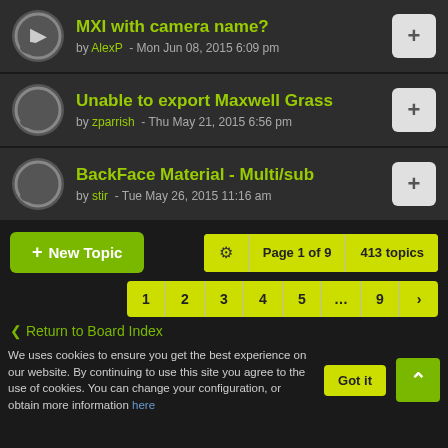MXI with camera name? by AlexP - Mon Jun 08, 2015 6:09 pm
Unable to export Maxwell Grass by zparrish - Thu May 21, 2015 6:56 pm
BackFace Material - Multi/sub by stir - Tue May 26, 2015 11:16 am
+ New Topic
Page 1 of 9  413 topics
1 2 3 4 5 ... 9 >
< Return to Board Index
We uses cookies to ensure you get the best experience on our website. By continuing to use this site you agree to the use of cookies. You can change your configuration, or obtain more information here